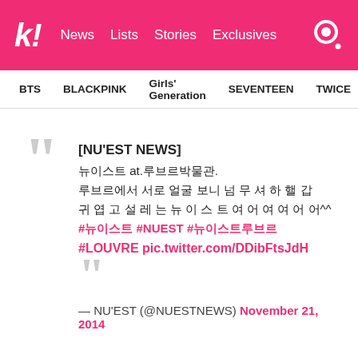k! News Lists Stories Exclusives [search]
BTS   BLACKPINK   Girls' Generation   SEVENTEEN   TWICE
[NU'EST NEWS]
뉴이스트 at.루브르박물관.
루브르에서 서로 얼굴 보니 넘 빨 셔 하 핼 갑
귀 엽 고 설 레 는 뉴 이 스 트 여 여 여 여 여 여 ^^ #뉴이스트 #NUEST #뉴이스트루브르
#LOUVRE pic.twitter.com/DDibFtsJdH
— NU'EST (@NUESTNEWS) November 21, 2014